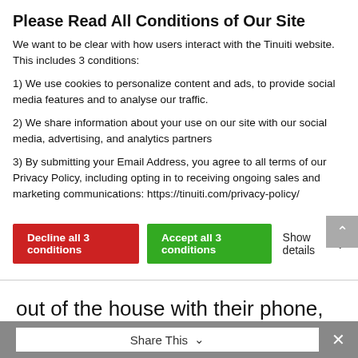Please Read All Conditions of Our Site
We want to be clear with how users interact with the Tinuiti website. This includes 3 conditions:
1) We use cookies to personalize content and ads, to provide social media features and to analyse our traffic.
2) We share information about your use on our site with our social media, advertising, and analytics partners
3) By submitting your Email Address, you agree to all terms of our Privacy Policy, including opting in to receiving ongoing sales and marketing communications: https://tinuiti.com/privacy-policy/
[Figure (other): Two buttons: red 'Decline all 3 conditions' and green 'Accept all 3 conditions', with a 'Show details' link with dropdown arrow]
out of the house with their phone, keys and a bottle of DIRTY LEMON.
Share This ∨  ×